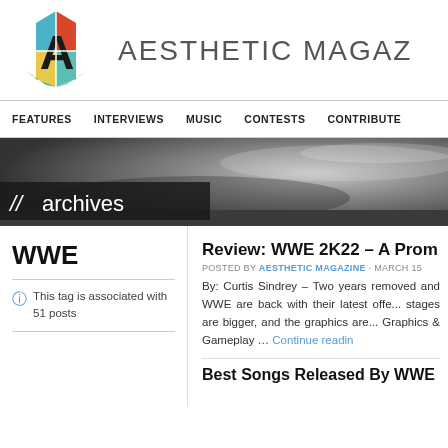[Figure (logo): Aesthetic Magazine hexagon logo with colored sections and letter A]
AESTHETIC MAGAZ...
FEATURES   INTERVIEWS   MUSIC   CONTESTS   CONTRIBUTE
[Figure (photo): Black and white dramatic sky banner with // archives label overlay]
WWE
This tag is associated with 51 posts
Review: WWE 2K22 – A Prom...
POSTED BY AESTHETIC MAGAZINE · MARCH 15...
By: Curtis Sindrey – Two years removed and WWE are back with their latest offe... stages are bigger, and the graphics are... Graphics & Gameplay … Continue readin...
Best Songs Released By WWE...